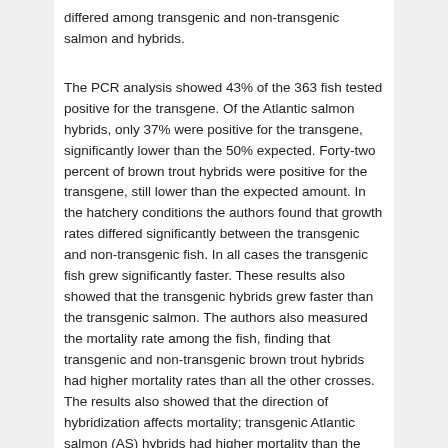differed among transgenic and non-transgenic salmon and hybrids.
The PCR analysis showed 43% of the 363 fish tested positive for the transgene. Of the Atlantic salmon hybrids, only 37% were positive for the transgene, significantly lower than the 50% expected. Forty-two percent of brown trout hybrids were positive for the transgene, still lower than the expected amount. In the hatchery conditions the authors found that growth rates differed significantly between the transgenic and non-transgenic fish. In all cases the transgenic fish grew significantly faster. These results also showed that the transgenic hybrids grew faster than the transgenic salmon. The authors also measured the mortality rate among the fish, finding that transgenic and non-transgenic brown trout hybrids had higher mortality rates than all the other crosses. The results also showed that the direction of hybridization affects mortality; transgenic Atlantic salmon (AS) hybrids had higher mortality than the wild-type AS hybrids, whereas wild-type brown trout (BT) hybrids had a higher